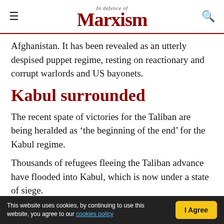In Defence of Marxism
Afghanistan. It has been revealed as an utterly despised puppet regime, resting on reactionary and corrupt warlords and US bayonets.
Kabul surrounded
The recent spate of victories for the Taliban are being heralded as ‘the beginning of the end’ for the Kabul regime.
Thousands of refugees fleeing the Taliban advance have flooded into Kabul, which is now under a state of siege.
This website uses cookies, by continuing to use this website, you agree to our cookies policy   I Agree